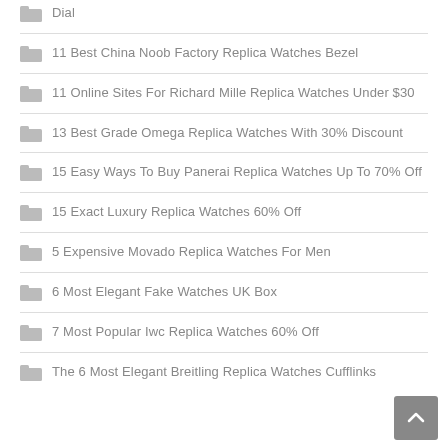Dial
11 Best China Noob Factory Replica Watches Bezel
11 Online Sites For Richard Mille Replica Watches Under $30
13 Best Grade Omega Replica Watches With 30% Discount
15 Easy Ways To Buy Panerai Replica Watches Up To 70% Off
15 Exact Luxury Replica Watches 60% Off
5 Expensive Movado Replica Watches For Men
6 Most Elegant Fake Watches UK Box
7 Most Popular Iwc Replica Watches 60% Off
The 6 Most Elegant Breitling Replica Watches Cufflinks